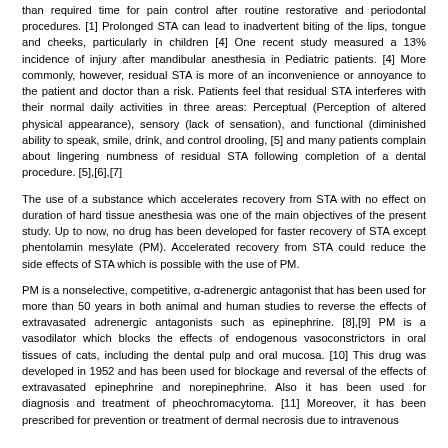than required time for pain control after routine restorative and periodontal procedures. [1] Prolonged STA can lead to inadvertent biting of the lips, tongue and cheeks, particularly in children [4] One recent study measured a 13% incidence of injury after mandibular anesthesia in Pediatric patients. [4] More commonly, however, residual STA is more of an inconvenience or annoyance to the patient and doctor than a risk. Patients feel that residual STA interferes with their normal daily activities in three areas: Perceptual (Perception of altered physical appearance), sensory (lack of sensation), and functional (diminished ability to speak, smile, drink, and control drooling, [5] and many patients complain about lingering numbness of residual STA following completion of a dental procedure. [5],[6],[7]
The use of a substance which accelerates recovery from STA with no effect on duration of hard tissue anesthesia was one of the main objectives of the present study. Up to now, no drug has been developed for faster recovery of STA except phentolamin mesylate (PM). Accelerated recovery from STA could reduce the side effects of STA which is possible with the use of PM.
PM is a nonselective, competitive, α-adrenergic antagonist that has been used for more than 50 years in both animal and human studies to reverse the effects of extravasated adrenergic antagonists such as epinephrine. [8],[9] PM is a vasodilator which blocks the effects of endogenous vasoconstrictors in oral tissues of cats, including the dental pulp and oral mucosa. [10] This drug was developed in 1952 and has been used for blockage and reversal of the effects of extravasated epinephrine and norepinephrine. Also it has been used for diagnosis and treatment of pheochromacytoma. [11] Moreover, it has been prescribed for prevention or treatment of dermal necrosis due to intravenous